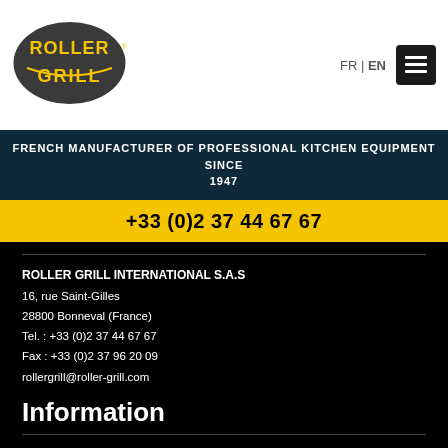[Figure (logo): Roller Grill logo — dark oval with yellow ROLLER GRILL text and R registered mark]
FR | EN
[Figure (other): hamburger menu icon button]
FRENCH MANUFACTURER OF PROFESSIONAL KITCHEN EQUIPMENT SINCE 1947
+33 (0)2 37 44 67 67
ROLLER GRILL INTERNATIONAL S.A.S
16, rue Saint-Gilles
28800 Bonneval (France)
Tel. : +33 (0)2 37 44 67 67
Fax : +33 (0)2 37 96 20 09
rollergrill@roller-grill.com
Information
Sitemap
Terms & Conditions
Newsletter